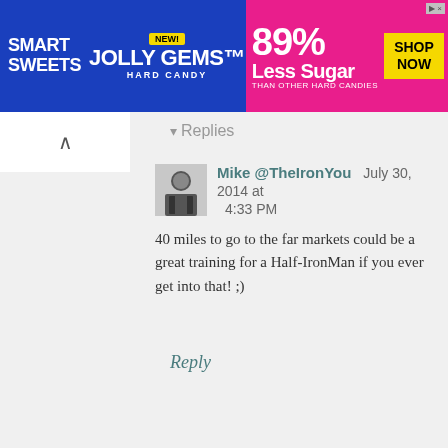[Figure (other): Smart Sweets advertisement banner for Jolly Gems Hard Candy. Blue and pink background. Text: NEW! JOLLY GEMS HARD CANDY, 89% LESS SUGAR THAN OTHER HARD CANDIES, SHOP NOW button.]
Replies
Mike @TheIronYou   July 30, 2014 at 4:33 PM
40 miles to go to the far markets could be a great training for a Half-IronMan if you ever get into that! ;)
Reply